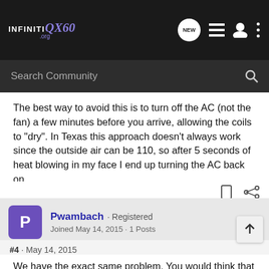[Figure (screenshot): InfinitiQX60.org forum navigation bar with logo, search field, and icons]
The best way to avoid this is to turn off the AC (not the fan) a few minutes before you arrive, allowing the coils to "dry". In Texas this approach doesn't always work since the outside air can be 110, so after 5 seconds of heat blowing in my face I end up turning the AC back on.
Pwambach · Registered
Joined May 14, 2015 · 1 Posts
#4 · May 14, 2015
We have the exact same problem. You would think that after spending this much on a car it should now smell like a dirty gym